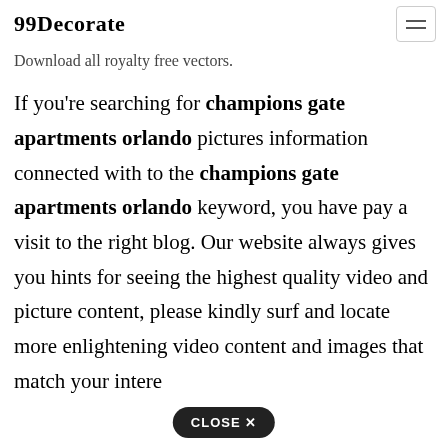99Decorate
Download all royalty free vectors.
If you're searching for champions gate apartments orlando pictures information connected with to the champions gate apartments orlando keyword, you have pay a visit to the right blog. Our website always gives you hints for seeing the highest quality video and picture content, please kindly surf and locate more enlightening video content and images that match your intere…
CLOSE X